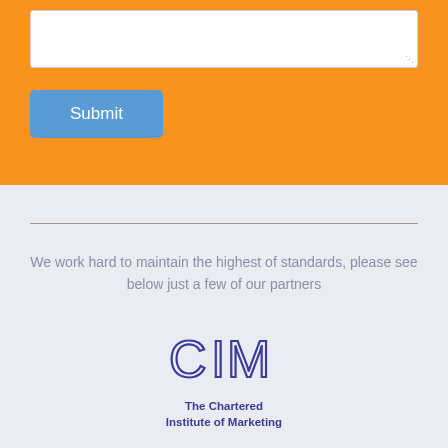[Figure (screenshot): White textarea input box on orange background with resize handle indicator]
[Figure (screenshot): Blue Submit button on orange background]
We work hard to maintain the highest of standards, please see below just a few of our partners
[Figure (logo): CIM - The Chartered Institute of Marketing logo in dark blue/navy color]